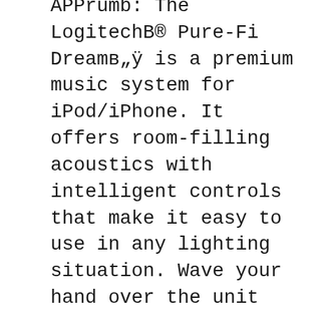APPrumb: The LogitechВ® Pure-Fi Dreamв„ÿ is a premium music system for iPod/iPhone. It offers room-filling acoustics with intelligent controls that make it easy to use in any lighting situation. Wave your hand over the unit and the backlit controls light up, making it a breeze вЂ¦, FREMONT, Calif.--(BUSINESS WIRE)--Logitech (SWX:LOGN)(NASDAQ:LOGI), a worldwide leader in iPod speakers, today announced the Logitech В® Pure-Fi Dream в„ÿ Premium Bedroom Music System for iPod В®, establishing a new category of iPod speakers for the bedroom.With premium audio, an innovative application of motion- and light-sensing technology, a built-in digital AM/FM